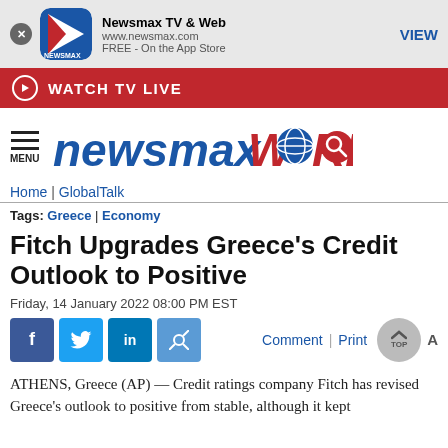[Figure (screenshot): Newsmax TV & Web app banner with icon, URL, and VIEW button]
WATCH TV LIVE
[Figure (logo): NewsmaxWORLD logo with globe and search icon]
Home | GlobalTalk
Tags: Greece | Economy
Fitch Upgrades Greece's Credit Outlook to Positive
Friday, 14 January 2022 08:00 PM EST
Comment | Print | TOP
ATHENS, Greece (AP) — Credit ratings company Fitch has revised Greece's outlook to positive from stable, although it kept